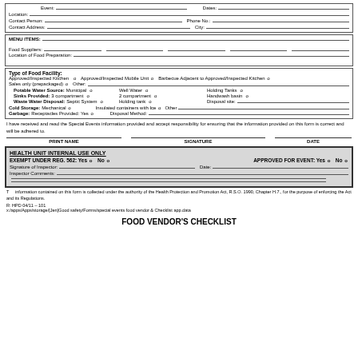| Event: | Dates: |
| Location: |
| Contact Person: | Phone No.: |
| Contact Address: | City: |
| MENU ITEMS: |
| Food Suppliers: |
| Location of Food Preparation: |
| Type of Food Facility: |
| Approved/Inspected Kitchen  o   Approved/Inspected Mobile Unit  o   Barbecue Adjacent to Approved/Inspected Kitchen  o |
| Sales only (prepackaged)  o   Other: |
| Potable Water Source: Municipal  o   Well Water  o   Holding Tanks  o |
| Sinks Provided: 3 compartment  o   2 compartment  o   Handwash basin  o |
| Waste Water Disposal: Septic System  o   Holding tank  o   Disposal site: |
| Cold Storage: Mechanical  o   Insulated containers with Ice  o   Other: |
| Garbage: Receptacles Provided: Yes  o   Disposal Method: |
I have received and read the Special Events information provided and accept responsibility for ensuring that the information provided on this form is correct and will be adhered to.
| PRINT NAME | SIGNATURE | DATE |
| --- | --- | --- |
| HEALTH UNIT INTERNAL USE ONLY |
| EXEMPT UNDER REG. 562: Yes o  No o | APPROVED FOR EVENT: Yes o  No o |
| Signature of Inspector: | Date: |
| Inspector Comments: |
The information contained on this form is collected under the authority of the Health Protection and Promotion Act, R.S.O. 1990, Chapter H.7., for the purpose of enforcing the Act and its Regulations.
R: HPD 04/11 – 101
x:/apps/Apps/storage/[Jen]Good safety/Forms/special events food vendor & Checklist app.data
FOOD VENDOR'S CHECKLIST